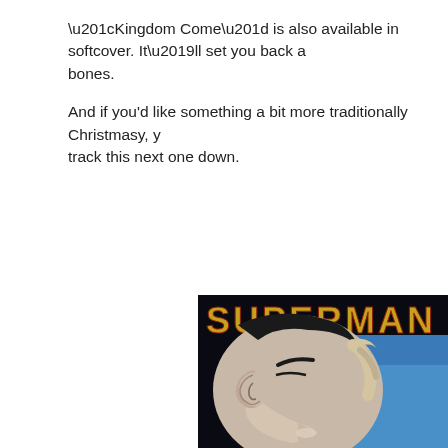“Kingdom Come” is also available in softcover. It’ll set you back a bones.
And if you'd like something a bit more traditionally Christmasy, y track this next one down.
[Figure (illustration): Book cover showing the word SUPERMAN in large gold/yellow letters at the top against a dark background, with a close-up illustration of Superman's face in profile — dark hair, strong features, looking downward, with blue sky visible to the right side.]